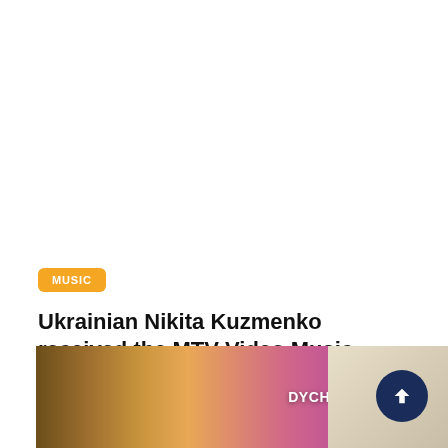MUSIC
Ukrainian Nikita Kuzmenko received the MTV Video Music Awards 2022 award
[Figure (photo): Photo from MTV Video Music Awards event showing performers/attendees with colorful background. Text overlay reads 'DYCHKO LESYA'.]